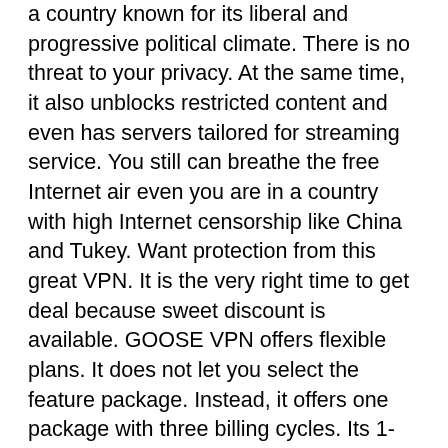a country known for its liberal and progressive political climate. There is no threat to your privacy. At the same time, it also unblocks restricted content and even has servers tailored for streaming service. You still can breathe the free Internet air even you are in a country with high Internet censorship like China and Tukey. Want protection from this great VPN. It is the very right time to get deal because sweet discount is available. GOOSE VPN offers flexible plans. It does not let you select the feature package. Instead, it offers one package with three billing cycles. Its 1-month plan of Unlimited Goose is $12.99 USD per month and the 1-year plan is $59.88 USD for the whole year, the 2-year plans is $71.76 USD for two years before using discount code. You can save $104.99 USD on the year plan. If you are not a heavy VPN user, you can purchase the 1-year plan, it only costs 19.92 USD a year. Want unlimited VPN plan. The 2-year plan is the best option, its original